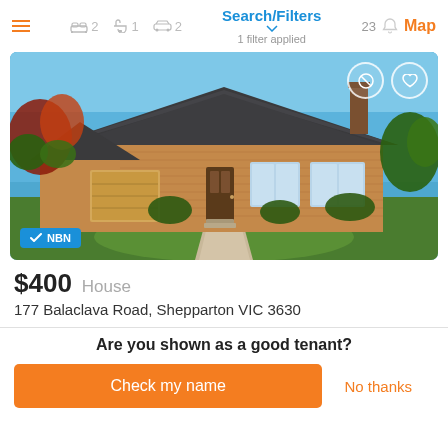Search/Filters | 1 filter applied | 23 | Map
[Figure (photo): Single-storey brick house with dark tiled roof, double garage, garden and lawn in front, blue sky. NBN badge overlay at bottom left. Two action icon buttons at top right.]
$400  House
177 Balaclava Road, Shepparton VIC 3630
Are you shown as a good tenant?
Check my name
No thanks